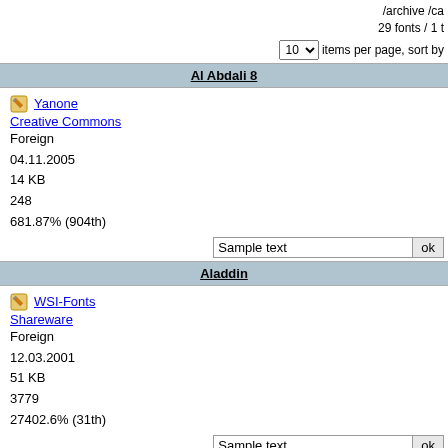/archive /ca...
29 fonts / 1 t...
10 items per page, sort by
Al Abdali 8
Yanone
Creative Commons
Foreign
04.11.2005
14 KB
248
681.87% (904th)
Aladdin
WSI-Fonts
Shareware
Foreign
12.03.2001
51 KB
3779
27402.6% (31th)
Ancient Geek
Matthew Welch
Freeware
Foreign
12.05.2001
18 KB
1222
1778.91% (423th)